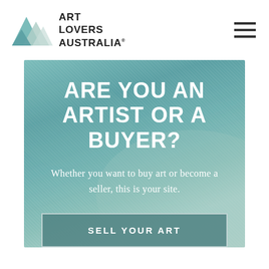[Figure (logo): Art Lovers Australia logo: mountain/landscape icon in teal and green with text ART LOVERS AUSTRALIA]
[Figure (infographic): Hero section with teal watercolor-like background containing headline, subtitle and two call-to-action buttons]
ARE YOU AN ARTIST OR A BUYER?
Whether you want to buy art or become a seller, this is your site.
SELL YOUR ART
GO TO THE SHOP